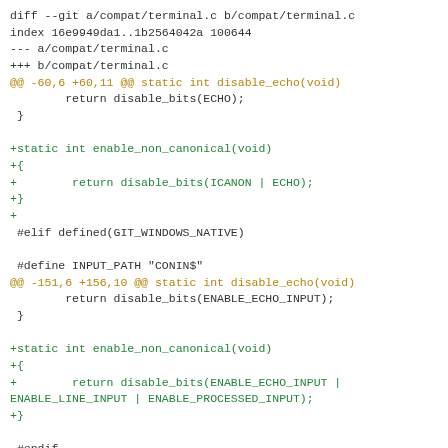[Figure (other): Git diff output showing changes to compat/terminal.c, adding enable_non_canonical(void) functions for both POSIX and Windows native builds]